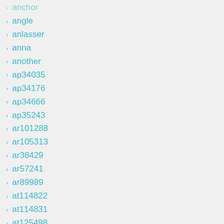anchor
angle
anlasser
anna
another
ap34035
ap34176
ap34666
ap35243
ar101288
ar105313
ar38429
ar57241
ar89989
at114822
at114831
at125498
at126130
at130941
at134737